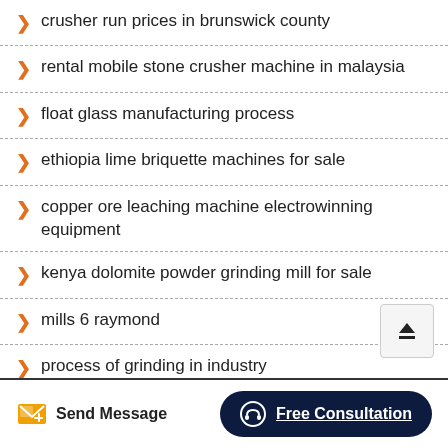crusher run prices in brunswick county
rental mobile stone crusher machine in malaysia
float glass manufacturing process
ethiopia lime briquette machines for sale
copper ore leaching machine electrowinning equipment
kenya dolomite powder grinding mill for sale
mills 6 raymond
process of grinding in industry
Send Message    Free Consultation